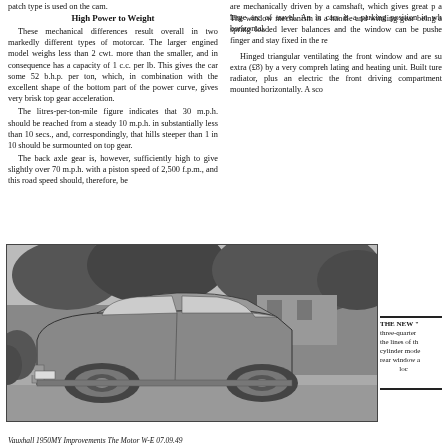patch type is used on the cam.
High Power to Weight
These mechanical differences result overall in two markedly different types of motorcar. The larger engined model weighs less than 2 cwt. more than the smaller, and in consequence has a capacity of 1 c.c. per lb. This gives the car some 52 b.h.p. per ton, which, in combination with the excellent shape of the bottom part of the power curve, gives very brisk top gear acceleration.
The litres-per-ton-mile figure indicates that 30 m.p.h. should be reached from a steady 10 m.p.h. in substantially less than 10 secs., and, correspondingly, that hills steeper than 1 in 10 should be surmounted on top gear.
The back axle gear is, however, sufficiently high to give slightly over 70 m.p.h. with a piston speed of 2,500 f.p.m., and this road speed should, therefore, be
are mechanically driven by a camshaft, which gives great p a large arc of travel. An in cars is a parking position in wh horizontal.
The window mechanism is a handle and winding gear being a spring loaded lever balances and the window can be pushe finger and stay fixed in the re
Hinged triangular ventilating the front window and are su extra (£8) by a very compreh lating and heating unit. Built ture radiator, plus an electric the front driving compartment mounted horizontally. A sco
[Figure (photo): Black and white photograph of a Vauxhall car, three-quarter rear view, parked on a road with trees and a building in the background.]
THE NEW " three-quarter the lines of th cylinder mode rear window a loc
Vauxhall 1950MY Improvements The Motor W-E 07.09.49